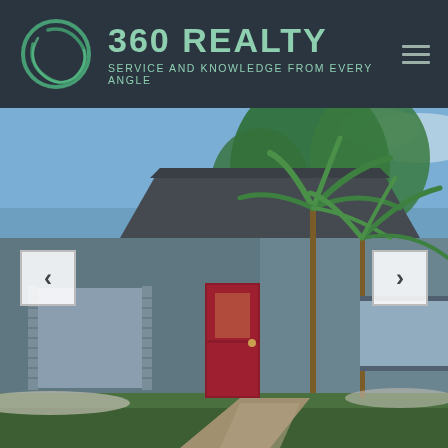[Figure (logo): 360 Realty circular logo in green on dark background]
360 REALTY
SERVICE AND KNOWLEDGE FROM EVERY ANGLE
[Figure (photo): Exterior photo of a single-story house with blue-grey stucco walls, a red front door, palm trees, and green landscaping. Navigation arrows visible on left and right sides.]